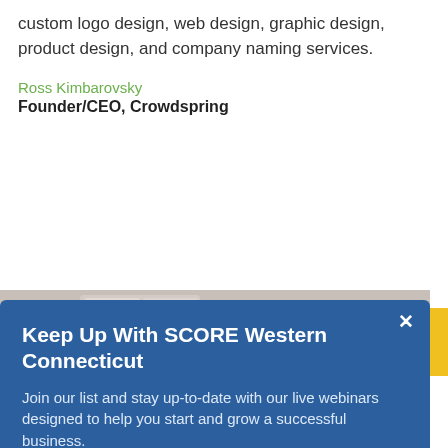custom logo design, web design, graphic design, product design, and company naming services.
Ross Kimbarovsky
Founder/CEO, Crowdspring
[Figure (screenshot): Modal popup with blue background titled 'Keep Up With SCORE Western Connecticut' with email subscription form and SUBMIT button]
[Figure (photo): Photo of a woman with natural curly hair talking on a phone, partially visible at the bottom of the page]